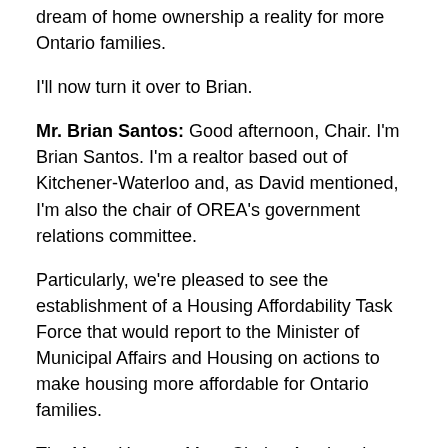dream of home ownership a reality for more Ontario families.
I'll now turn it over to Brian.
Mr. Brian Santos: Good afternoon, Chair. I'm Brian Santos. I'm a realtor based out of Kitchener-Waterloo and, as David mentioned, I'm also the chair of OREA's government relations committee.
Particularly, we're pleased to see the establishment of a Housing Affordability Task Force that would report to the Minister of Municipal Affairs and Housing on actions to make housing more affordable for Ontario families.
The More Homes, More Choice Act that the government passed in 2019 was an excellent first step in addressing the housing crisis. In 2020 alone, over 70,000 homes started construction, more than any other year over the past decade. OREA is happy that Ontario has equally prioritized renters, with rental housing starting in 2020 being the